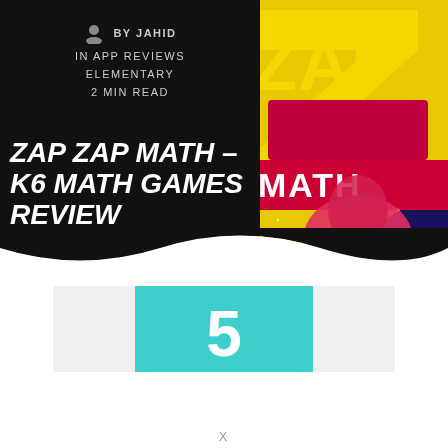BY JAHID
IN APP REVIEWS
ELEMENTARY
2 MIN READ
[Figure (illustration): Zap Zap Math app promotional image with bold yellow ZAP text and colorful space-themed graphics on dark background]
ZAP ZAP MATH – K6 MATH GAMES REVIEW
[Figure (infographic): Score card showing number 5 in a teal/turquoise box on a light grey background]